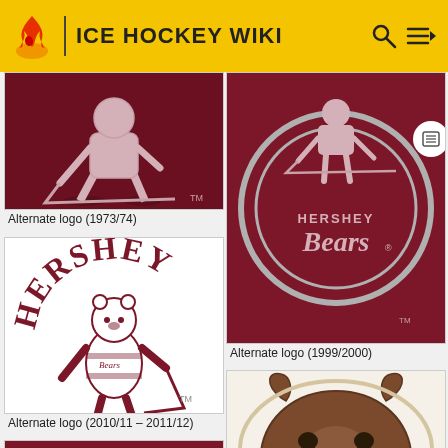ICE HOCKEY WIKI
[Figure (logo): Hershey Bears alternate logo 1973/74 - hockey player on dark maroon background]
Alternate logo (1973/74)
[Figure (logo): Hershey Bears alternate logo 1999/2000 - circular logo with Bears text on maroon background]
Alternate logo (1999/2000)
[Figure (logo): Hershey Bears alternate logo 2010/11 - 2011/12 - bear hockey player with HERSHEY arched text above]
Alternate logo (2010/11 - 2011/12)
[Figure (logo): Hershey Bears logo - brown bear head roaring, modern design]
[Figure (logo): Hershey Bears partial logo visible at bottom - bear on maroon background]